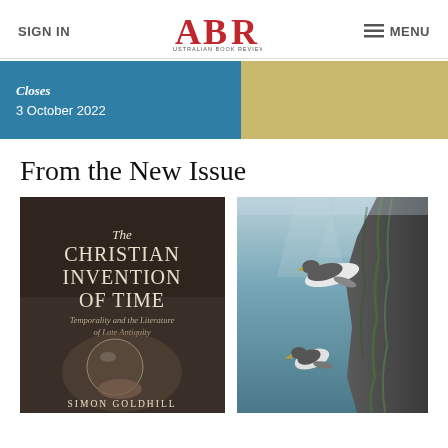SIGN IN | ABR Australian Book Review | MENU
[Figure (other): Blue and gold banner section showing 'Closes 3 October 2022']
From the New Issue
[Figure (illustration): Book cover: The Christian Invention of Time – Temporality and the Literature of Late Antiquity by Simon Goldhill. Dark brown background with figure holding a glass orb.]
[Figure (photo): Underwater photograph of penguins/seals swimming near a rocky cliff with kelp.]